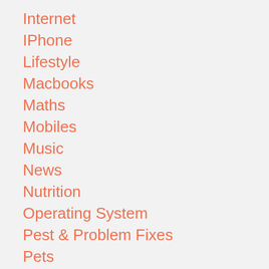Internet
IPhone
Lifestyle
Macbooks
Maths
Mobiles
Music
News
Nutrition
Operating System
Pest & Problem Fixes
Pets